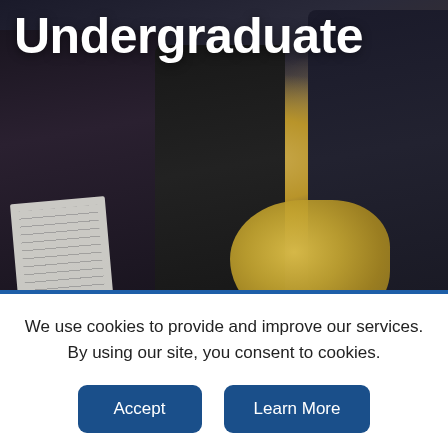[Figure (photo): Group of music students in black attire, one smiling woman holding a French horn (brass instrument), other students with instruments in background, sheet music visible on left, brick wall in background]
Undergraduate
We use cookies to provide and improve our services. By using our site, you consent to cookies.
Accept
Learn More